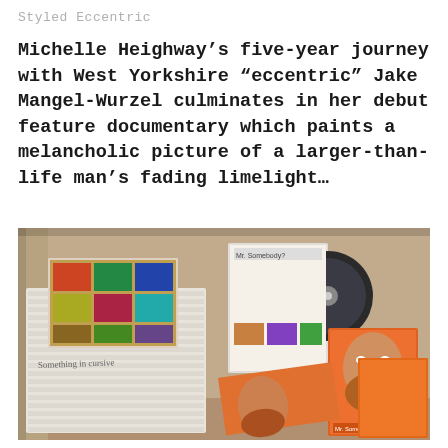Styled Eccentric
Michelle Heighway's five-year journey with West Yorkshire “eccentric” Jake Mangel-Wurzel culminates in her debut feature documentary which paints a melancholic picture of a larger-than-life man’s fading limelight…
[Figure (photo): A cardboard box filled with stacked white envelopes/packages and several DVD cases showing a documentary film, with a bearded man's face visible on the covers.]